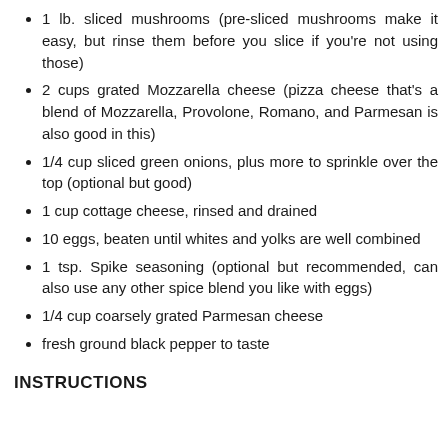1 lb. sliced mushrooms (pre-sliced mushrooms make it easy, but rinse them before you slice if you're not using those)
2 cups grated Mozzarella cheese (pizza cheese that's a blend of Mozzarella, Provolone, Romano, and Parmesan is also good in this)
1/4 cup sliced green onions, plus more to sprinkle over the top (optional but good)
1 cup cottage cheese, rinsed and drained
10 eggs, beaten until whites and yolks are well combined
1 tsp. Spike seasoning (optional but recommended, can also use any other spice blend you like with eggs)
1/4 cup coarsely grated Parmesan cheese
fresh ground black pepper to taste
INSTRUCTIONS